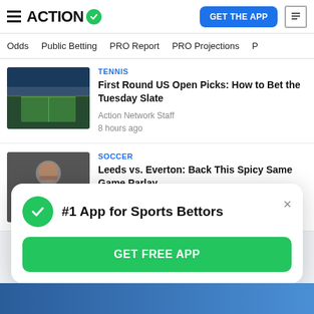ACTION
Odds  Public Betting  PRO Report  PRO Projections
TENNIS
First Round US Open Picks: How to Bet the Tuesday Slate
Action Network Staff
8 hours ago
SOCCER
Leeds vs. Everton: Back This Spicy Same Game Parlay
Nicholas Hennion
9 hours ago
#1 App for Sports Bettors
GET FREE APP